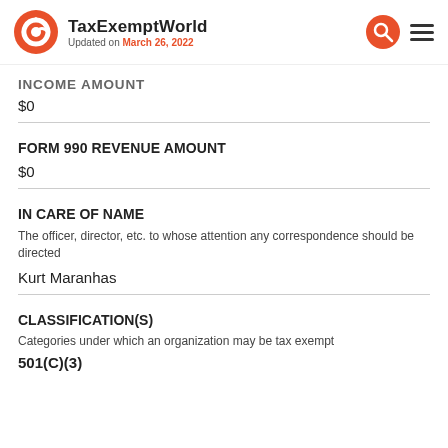TaxExemptWorld — Updated on March 26, 2022
INCOME AMOUNT
$0
FORM 990 REVENUE AMOUNT
$0
IN CARE OF NAME
The officer, director, etc. to whose attention any correspondence should be directed
Kurt Maranhas
CLASSIFICATION(S)
Categories under which an organization may be tax exempt
501(C)(3)